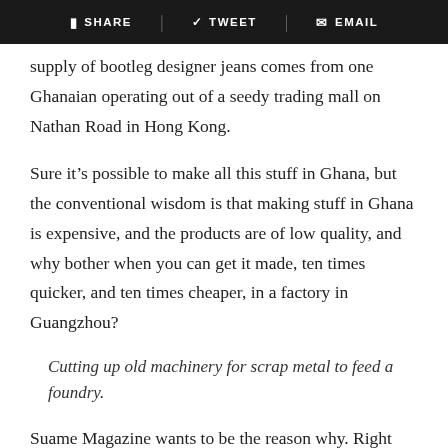SHARE  TWEET  EMAIL
supply of bootleg designer jeans comes from one Ghanaian operating out of a seedy trading mall on Nathan Road in Hong Kong.
Sure it’s possible to make all this stuff in Ghana, but the conventional wisdom is that making stuff in Ghana is expensive, and the products are of low quality, and why bother when you can get it made, ten times quicker, and ten times cheaper, in a factory in Guangzhou?
Cutting up old machinery for scrap metal to feed a foundry.
Suame Magazine wants to be the reason why. Right now, it’s an obstacle course—a 20-mile stretch of wooden sheds, half-finished concrete factories, countless open-air workshops, and